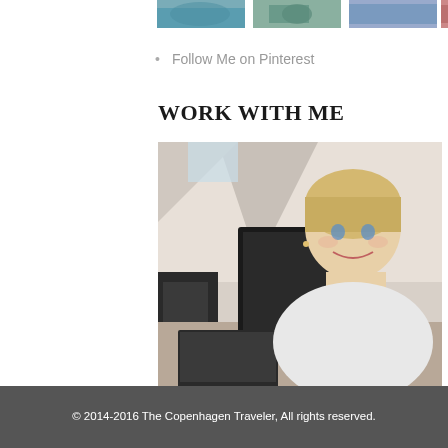[Figure (photo): Row of small thumbnail photos at top of page, partially visible]
Follow Me on Pinterest
WORK WITH ME
[Figure (photo): A smiling blonde woman sitting at a desk with a computer monitor and laptop in an office/home setting]
Click the photo for more information
© 2014-2016 The Copenhagen Traveler, All rights reserved.